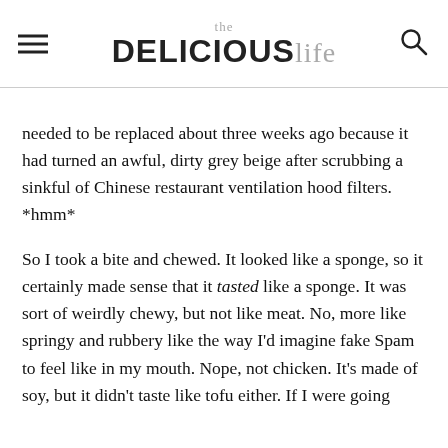the DELICIOUSlife
needed to be replaced about three weeks ago because it had turned an awful, dirty grey beige after scrubbing a sinkful of Chinese restaurant ventilation hood filters. *hmm*
So I took a bite and chewed. It looked like a sponge, so it certainly made sense that it tasted like a sponge. It was sort of weirdly chewy, but not like meat. No, more like springy and rubbery like the way I'd imagine fake Spam to feel like in my mouth. Nope, not chicken. It's made of soy, but it didn't taste like tofu either. If I were going